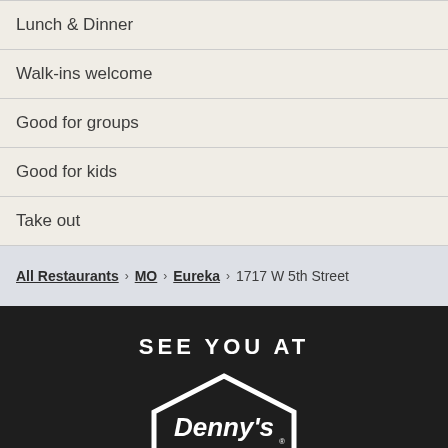Lunch & Dinner
Walk-ins welcome
Good for groups
Good for kids
Take out
All Restaurants > MO > Eureka > 1717 W 5th Street
SEE YOU AT
[Figure (logo): Denny's restaurant logo in white on dark background, showing pentagon-shaped house outline with 'Denny's' text inside]